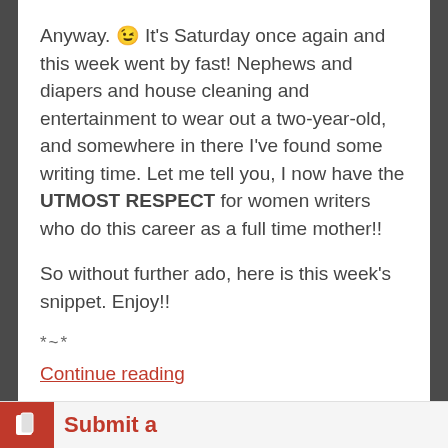Anyway. 😉 It's Saturday once again and this week went by fast! Nephews and diapers and house cleaning and entertainment to wear out a two-year-old, and somewhere in there I've found some writing time. Let me tell you, I now have the UTMOST RESPECT for women writers who do this career as a full time mother!!
So without further ado, here is this week's snippet. Enjoy!!
*~*
Continue reading
August 3, 2013   Sara Fawkes